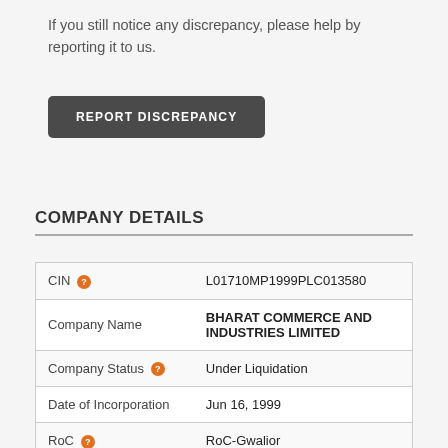If you still notice any discrepancy, please help by reporting it to us.
[Figure (other): Dark rounded button labeled REPORT DISCREPANCY]
COMPANY DETAILS
| CIN | L01710MP1999PLC013580 |
| Company Name | BHARAT COMMERCE AND INDUSTRIES LIMITED |
| Company Status | Under Liquidation |
| Date of Incorporation | Jun 16, 1999 |
| RoC | RoC-Gwalior |